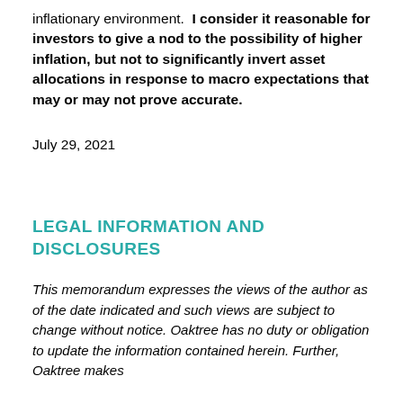inflationary environment. I consider it reasonable for investors to give a nod to the possibility of higher inflation, but not to significantly invert asset allocations in response to macro expectations that may or may not prove accurate.
July 29, 2021
LEGAL INFORMATION AND DISCLOSURES
This memorandum expresses the views of the author as of the date indicated and such views are subject to change without notice. Oaktree has no duty or obligation to update the information contained herein. Further, Oaktree makes